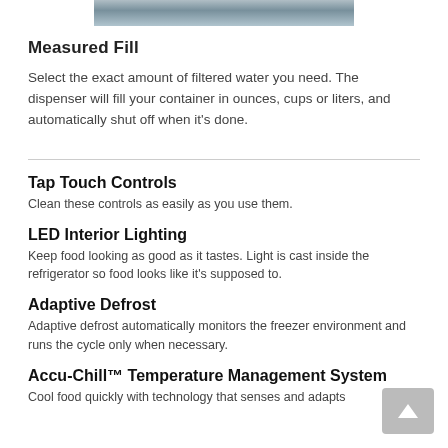[Figure (photo): Partial photo of a person near a refrigerator water dispenser, cropped at top of page]
Measured Fill
Select the exact amount of filtered water you need. The dispenser will fill your container in ounces, cups or liters, and automatically shut off when it's done.
Tap Touch Controls
Clean these controls as easily as you use them.
LED Interior Lighting
Keep food looking as good as it tastes. Light is cast inside the refrigerator so food looks like it's supposed to.
Adaptive Defrost
Adaptive defrost automatically monitors the freezer environment and runs the cycle only when necessary.
Accu-Chill™ Temperature Management System
Cool food quickly with technology that senses and adapts.